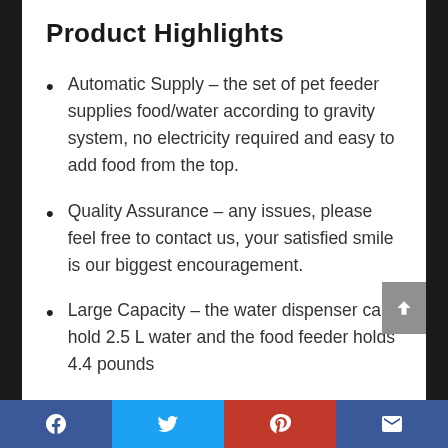Product Highlights
Automatic Supply – the set of pet feeder supplies food/water according to gravity system, no electricity required and easy to add food from the top.
Quality Assurance – any issues, please feel free to contact us, your satisfied smile is our biggest encouragement.
Large Capacity – the water dispenser can hold 2.5 L water and the food feeder holds 4.4 pounds
Facebook | Twitter | Pinterest | Email (social share bar)